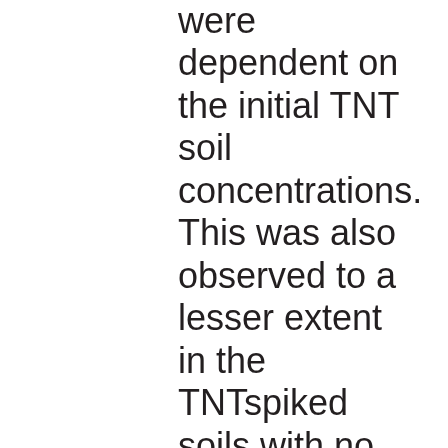were dependent on the initial TNT soil concentrations. This was also observed to a lesser extent in the TNTspiked soils with no earthworms present. The biotransformation of TNT into 2-ADNT, 4-ADNT, and 2,4-DANT and the presence of these metabolites in E. andrei after dermal contact on TNT-spiked filter paper showed that dermal uptake can be a significant exposure route for TNT. In vitro experiments showed that